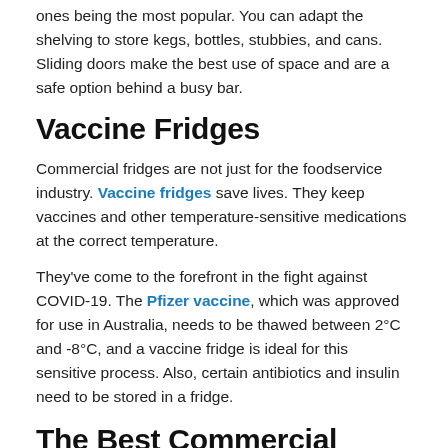ones being the most popular. You can adapt the shelving to store kegs, bottles, stubbies, and cans. Sliding doors make the best use of space and are a safe option behind a busy bar.
Vaccine Fridges
Commercial fridges are not just for the foodservice industry. Vaccine fridges save lives. They keep vaccines and other temperature-sensitive medications at the correct temperature.
They've come to the forefront in the fight against COVID-19. The Pfizer vaccine, which was approved for use in Australia, needs to be thawed between 2°C and -8°C, and a vaccine fridge is ideal for this sensitive process. Also, certain antibiotics and insulin need to be stored in a fridge.
The Best Commercial Fridges for Your Business
Getting the right commercial fridges can make a huge difference when it comes to the safety and efficiency of your